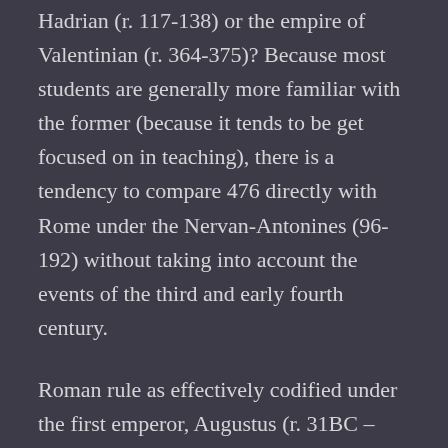Hadrian (r. 117-138) or the empire of Valentinian (r. 364-375)? Because most students are generally more familiar with the former (because it tends to be get focused on in teaching), there is a tendency to compare 476 directly with Rome under the Nervan-Antonines (96-192) without taking into account the events of the third and early fourth century.
Roman rule as effectively codified under the first emperor, Augustus (r. 31BC – 14AD) was relatively limited and indirect, not because the Romans believed in something called 'limited government' but because the aims of the Roman state were very limited (secure territory, collect taxes) and the administrative apparatus for doing those things was also very limited. The whole